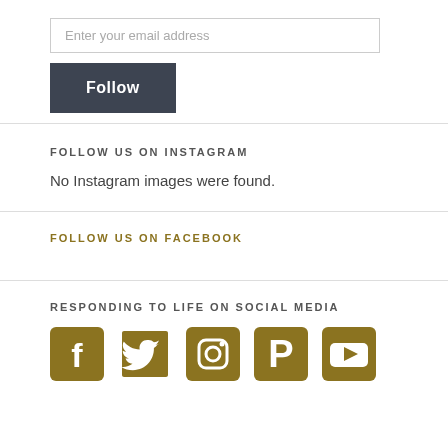Enter your email address
Follow
FOLLOW US ON INSTAGRAM
No Instagram images were found.
FOLLOW US ON FACEBOOK
RESPONDING TO LIFE ON SOCIAL MEDIA
[Figure (illustration): Five social media icons in gold/olive color: Facebook, Twitter, Instagram, Pinterest, YouTube]